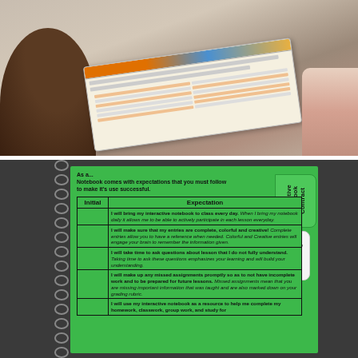[Figure (photo): Photo of a person holding and reading a document with a colorful table/rubric, taken outdoors on a tiled floor. Another person visible in background on right.]
[Figure (photo): Photo of a spiral-bound interactive notebook open to a green page titled 'Interactive Notebook Contract' with a table listing expectations students must initial.]
As a... Notebook comes with expectations that you must follow to make it's use successful.
| Initial | Expectation |
| --- | --- |
|  | I will bring my interactive notebook to class every day. When I bring my notebook daily it allows me to be able to actively participate in each lesson everyday. |
|  | I will make sure that my entries are complete, colorful and creative! Complete entries allow you to have a reference when needed. Colorful and Creative entries will engage your brain to remember the information given. |
|  | I will take time to ask questions about lesson that I do not fully understand. Taking time to ask these questions emphasizes your learning and will build your understanding. |
|  | I will make up any missed assignments promptly so as to not have incomplete work and to be prepared for future lessons. Missed assignments mean that you are missing important information that was taught and are also marked down on your grading rubric. |
|  | I will use my interactive notebook as a resource to help me complete my homework, classwork, group work, and study for |